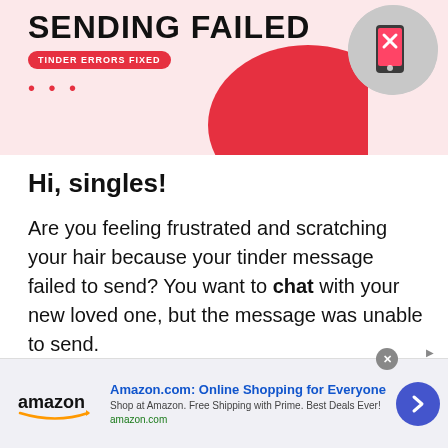[Figure (screenshot): Banner advertisement with pink background showing 'SENDING FAILED' text in large bold black letters, a red badge reading 'TINDER ERRORS FIXED', red ellipsis dots, a red curved blob shape, and a circular photo of a hand holding a phone in the upper right.]
Hi, singles!
Are you feeling frustrated and scratching your hair because your tinder message failed to send? You want to chat with your new loved one, but the message was unable to send.
[Figure (screenshot): Amazon advertisement banner at the bottom with Amazon logo on the left, headline 'Amazon.com: Online Shopping for Everyone', subtext 'Shop at Amazon. Free Shipping with Prime. Best Deals Ever!', URL 'amazon.com' in green, a circular blue arrow button, and a grey close button.]